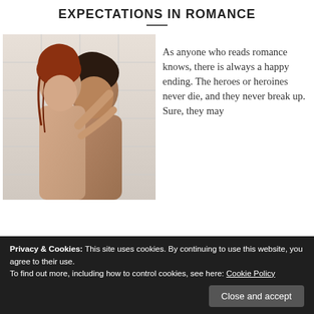EXPECTATIONS IN ROMANCE
[Figure (photo): Two people in an intimate embrace in a shower setting; a red-haired woman and a dark-haired man]
As anyone who reads romance knows, there is always a happy ending. The heroes or heroines never die, and they never break up. Sure, they may
Privacy & Cookies: This site uses cookies. By continuing to use this website, you agree to their use.
To find out more, including how to control cookies, see here: Cookie Policy
Close and accept